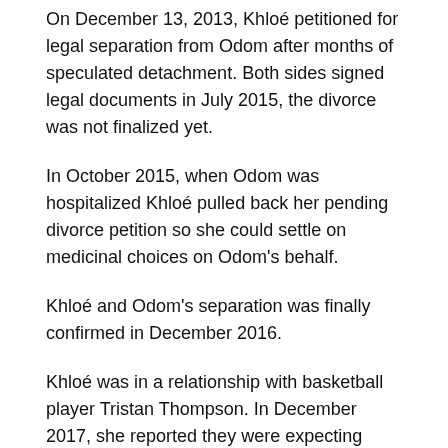On December 13, 2013, Khloé petitioned for legal separation from Odom after months of speculated detachment. Both sides signed legal documents in July 2015, the divorce was not finalized yet.
In October 2015, when Odom was hospitalized Khloé pulled back her pending divorce petition so she could settle on medicinal choices on Odom's behalf.
Khloé and Odom's separation was finally confirmed in December 2016.
Khloé was in a relationship with basketball player Tristan Thompson. In December 2017, she reported they were expecting their first baby together.
On April 12, 2018, she welcomed their little baby girl, True Thompson. Followingly after Tristan Thompson was found to